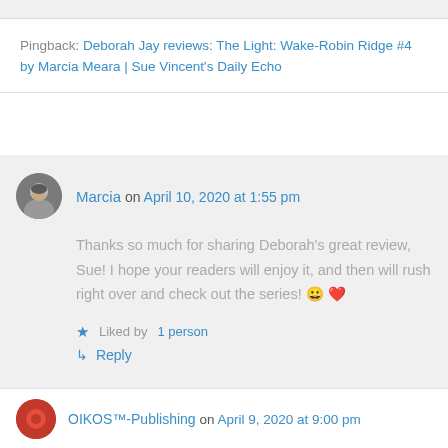Pingback: Deborah Jay reviews: The Light: Wake-Robin Ridge #4 by Marcia Meara | Sue Vincent's Daily Echo
Marcia on April 10, 2020 at 1:55 pm
Thanks so much for sharing Deborah's great review, Sue! I hope your readers will enjoy it, and then will rush right over and check out the series! 😀 ❤
★ Liked by 1 person
↳ Reply
OIKOS™-Publishing on April 9, 2020 at 9:00 pm